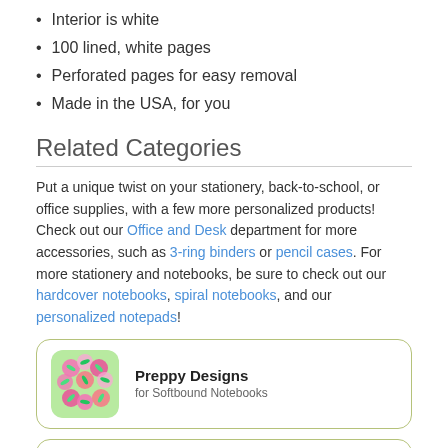Interior is white
100 lined, white pages
Perforated pages for easy removal
Made in the USA, for you
Related Categories
Put a unique twist on your stationery, back-to-school, or office supplies, with a few more personalized products! Check out our Office and Desk department for more accessories, such as 3-ring binders or pencil cases. For more stationery and notebooks, be sure to check out our hardcover notebooks, spiral notebooks, and our personalized notepads!
[Figure (illustration): Card with floral preppy pattern image - Preppy Designs for Softbound Notebooks]
[Figure (illustration): Card with sea shell illustration - Sea Shell Designs for Softbound Notebooks]